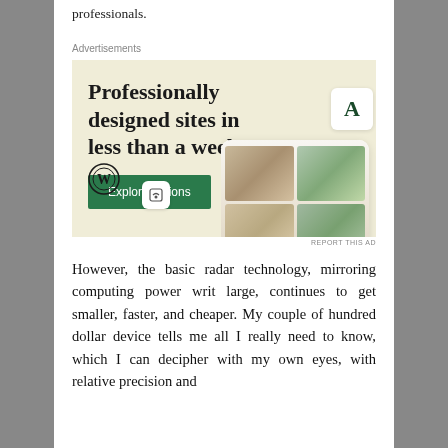professionals.
Advertisements
[Figure (illustration): WordPress advertisement banner with beige background, showing 'Professionally designed sites in less than a week' headline, a green 'Explore options' button, WordPress logo, and screenshots of website templates with food photography.]
REPORT THIS AD
However, the basic radar technology, mirroring computing power writ large, continues to get smaller, faster, and cheaper. My couple of hundred dollar device tells me all I really need to know, which I can decipher with my own eyes, with relative precision and